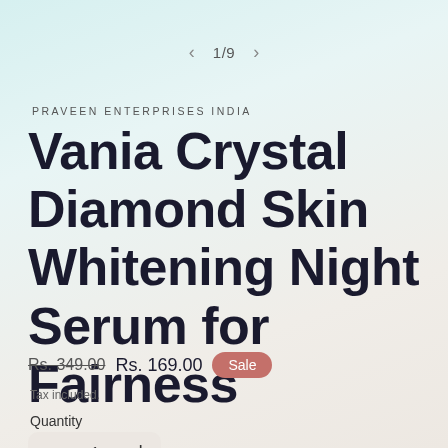< 1/9 >
PRAVEEN ENTERPRISES INDIA
Vania Crystal Diamond Skin Whitening Night Serum for Fairness
Rs. 349.00  Rs. 169.00  Sale
Tax included.
Quantity